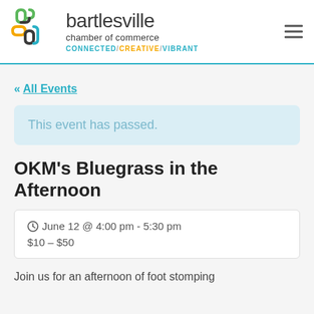[Figure (logo): Bartlesville Chamber of Commerce logo with colorful interlocking shapes and tagline CONNECTED/CREATIVE/VIBRANT]
« All Events
This event has passed.
OKM's Bluegrass in the Afternoon
June 12 @ 4:00 pm - 5:30 pm
$10 – $50
Join us for an afternoon of foot stomping